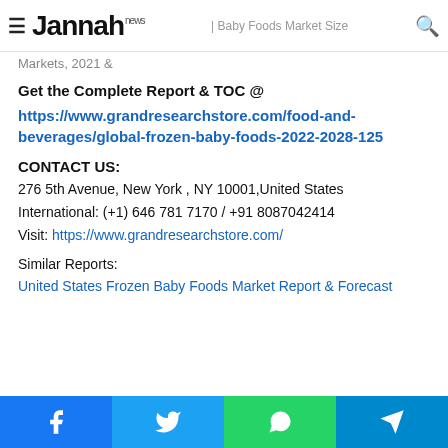≡ Jannah news | Baby Foods Market Size
Markets, 2021 &
Get the Complete Report & TOC @ https://www.grandresearchstore.com/food-and-beverages/global-frozen-baby-foods-2022-2028-125
CONTACT US:
276 5th Avenue, New York , NY 10001,United States
International: (+1) 646 781 7170 / +91 8087042414
Visit: https://www.grandresearchstore.com/
Similar Reports:
United States Frozen Baby Foods Market Report & Forecast
Facebook | Twitter | WhatsApp | Telegram